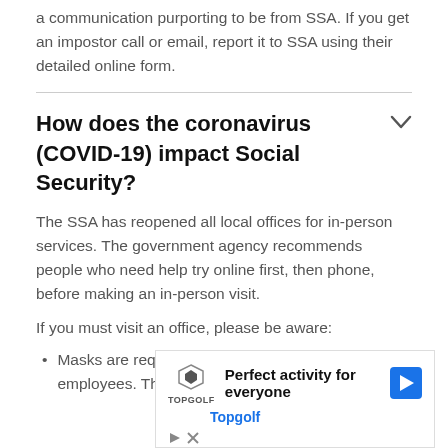a communication purporting to be from SSA. If you get an impostor call or email, report it to SSA using their detailed online form.
How does the coronavirus (COVID-19) impact Social Security?
The SSA has reopened all local offices for in-person services. The government agency recommends people who need help try online first, then phone, before making an in-person visit.
If you must visit an office, please be aware:
Masks are required for all office visitors and employees. The SSA will provide a mask if you do
[Figure (infographic): Advertisement banner for Topgolf with logo, headline 'Perfect activity for everyone', navigation arrow icon, and Topgolf brand name in blue]